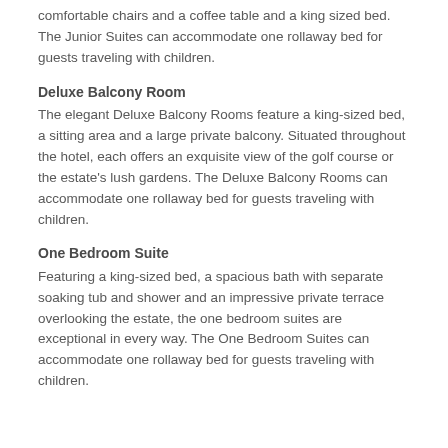comfortable chairs and a coffee table and a king sized bed. The Junior Suites can accommodate one rollaway bed for guests traveling with children.
Deluxe Balcony Room
The elegant Deluxe Balcony Rooms feature a king-sized bed, a sitting area and a large private balcony. Situated throughout the hotel, each offers an exquisite view of the golf course or the estate's lush gardens. The Deluxe Balcony Rooms can accommodate one rollaway bed for guests traveling with children.
One Bedroom Suite
Featuring a king-sized bed, a spacious bath with separate soaking tub and shower and an impressive private terrace overlooking the estate, the one bedroom suites are exceptional in every way. The One Bedroom Suites can accommodate one rollaway bed for guests traveling with children.